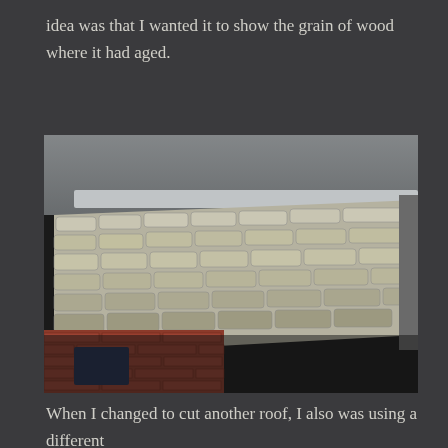idea was that I wanted it to show the grain of wood where it had aged.
[Figure (photo): Close-up photograph of a model building showing rows of textured grey/white roof tiles with visible grain and aging effects, and a red brick wall section visible at the bottom.]
When I changed to cut another roof, I also was using a different